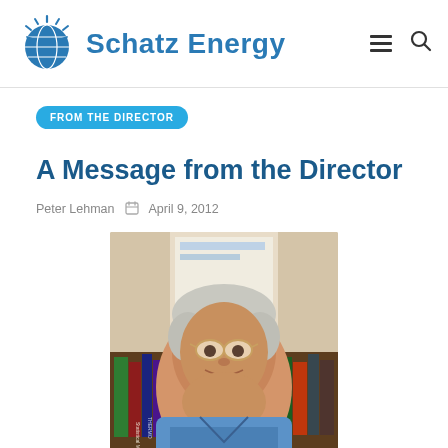Schatz Energy
FROM THE DIRECTOR
A Message from the Director
Peter Lehman  April 9, 2012
[Figure (photo): Portrait photo of Peter Lehman, an older man with short white/grey hair and glasses, wearing a blue shirt, seated in front of a bookshelf with books visible in the background.]